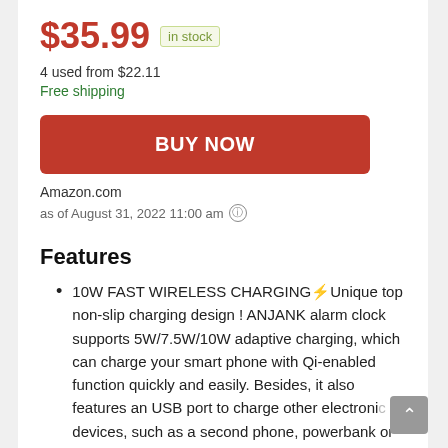$35.99 in stock
4 used from $22.11
Free shipping
BUY NOW
Amazon.com
as of August 31, 2022 11:00 am
Features
10W FAST WIRELESS CHARGING⚡Unique top non-slip charging design ! ANJANK alarm clock supports 5W/7.5W/10W adaptive charging, which can charge your smart phone with Qi-enabled function quickly and easily. Besides, it also features an USB port to charge other electronic devices, such as a second phone, powerbank or